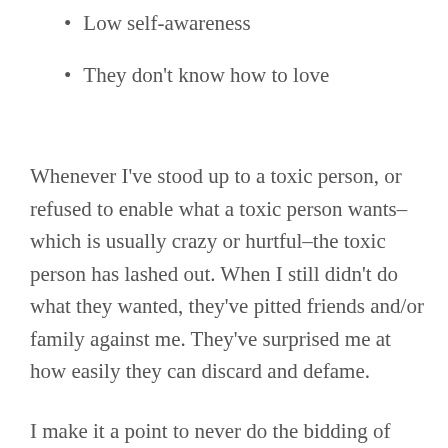Low self-awareness
They don't know how to love
Whenever I've stood up to a toxic person, or refused to enable what a toxic person wants–which is usually crazy or hurtful–the toxic person has lashed out. When I still didn't do what they wanted, they've pitted friends and/or family against me. They've surprised me at how easily they can discard and defame.
I make it a point to never do the bidding of toxic